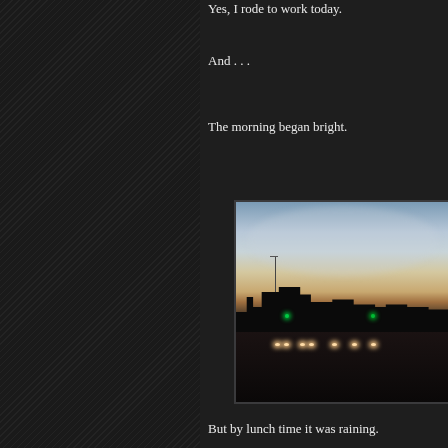Yes, I rode to work today.
And . . .
The morning began bright.
[Figure (photo): A dark, moody early morning street scene taken from inside a car. Buildings and grain elevators are silhouetted against a dramatic sky with wispy clouds and warm orange/golden horizon glow. Traffic lights and car headlights are visible on the street below.]
But by lunch time it was raining.